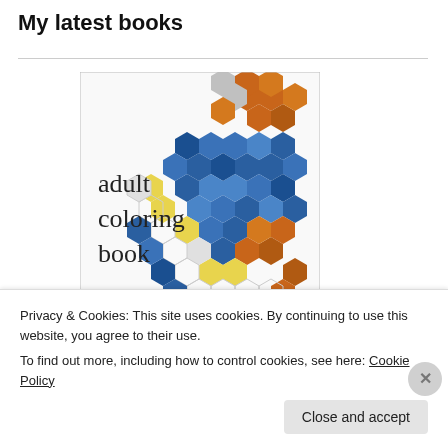My latest books
[Figure (illustration): Book cover for an adult coloring book titled 'Fractals' featuring a colorful hexagonal mosaic pattern in blue, orange, yellow, and white tones. Text on cover reads 'adult coloring book' and 'Fractals'.]
Privacy & Cookies: This site uses cookies. By continuing to use this website, you agree to their use.
To find out more, including how to control cookies, see here: Cookie Policy
Close and accept